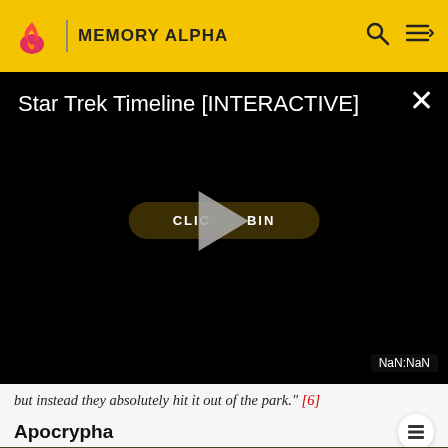MEMORY ALPHA
[Figure (screenshot): Star Trek Timeline [INTERACTIVE] video player overlay on black background with play button and NaN:NaN timestamp]
but instead they absolutely hit it out of the park." [6]
Apocrypha
[Figure (photo): Photo of flowers and a golden triangular object on dark green background, partially visible at bottom of page]